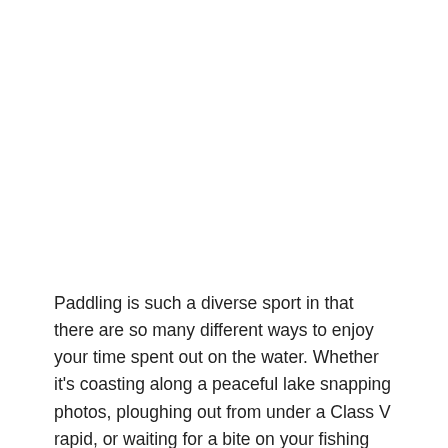Paddling is such a diverse sport in that there are so many different ways to enjoy your time spent out on the water. Whether it's coasting along a peaceful lake snapping photos, ploughing out from under a Class V rapid, or waiting for a bite on your fishing line - there's no shortage of things to love about paddling. Fishing is actually one of the more popular uses that we find our customers using our K-Paks for! So that got us thinking - if you're a frequent paddler, and maybe the